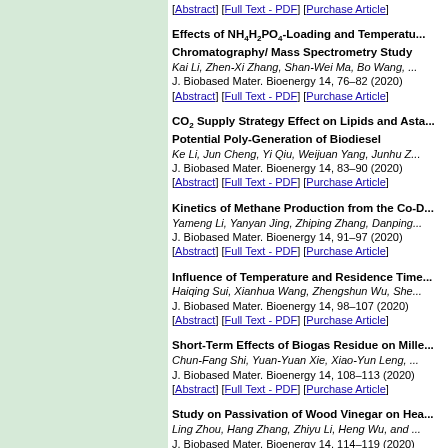[Abstract] [Full Text - PDF] [Purchase Article] — Effects of NH4H2PO4-Loading and Temperature... Chromatography/ Mass Spectrometry Study, Kai Li, Zhen-Xi Zhang, Shan-Wei Ma, Bo Wang, J. Biobased Mater. Bioenergy 14, 76–82 (2020) [Abstract] [Full Text - PDF] [Purchase Article]
CO2 Supply Strategy Effect on Lipids and Asta... Potential Poly-Generation of Biodiesel, Ke Li, Jun Cheng, Yi Qiu, Weijuan Yang, Junhu Z..., J. Biobased Mater. Bioenergy 14, 83–90 (2020) [Abstract] [Full Text - PDF] [Purchase Article]
Kinetics of Methane Production from the Co-D..., Yameng Li, Yanyan Jing, Zhiping Zhang, Danping..., J. Biobased Mater. Bioenergy 14, 91–97 (2020) [Abstract] [Full Text - PDF] [Purchase Article]
Influence of Temperature and Residence Time..., Haiqing Sui, Xianhua Wang, Zhengshun Wu, She..., J. Biobased Mater. Bioenergy 14, 98–107 (2020) [Abstract] [Full Text - PDF] [Purchase Article]
Short-Term Effects of Biogas Residue on Mille..., Chun-Fang Shi, Yuan-Yuan Xie, Xiao-Yun Leng,..., J. Biobased Mater. Bioenergy 14, 108–113 (2020) [Abstract] [Full Text - PDF] [Purchase Article]
Study on Passivation of Wood Vinegar on Hea..., Ling Zhou, Hang Zhang, Zhiyu Li, Heng Wu, and..., J. Biobased Mater. Bioenergy 14, 114–119 (2020) [Abstract] [Full Text - PDF] [Purchase Article]